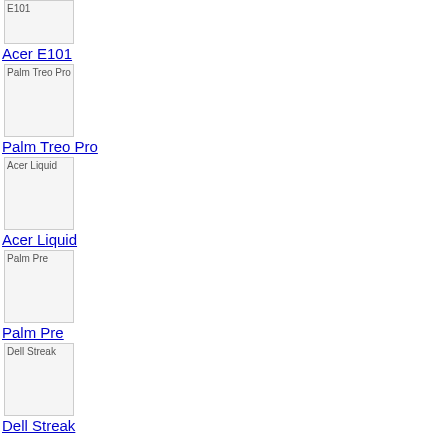[Figure (other): Truncated image placeholder for Acer E101]
Acer E101
[Figure (other): Image placeholder for Palm Treo Pro]
Palm Treo Pro
[Figure (other): Image placeholder for Acer Liquid]
Acer Liquid
[Figure (other): Image placeholder for Palm Pre]
Palm Pre
[Figure (other): Image placeholder for Dell Streak]
Dell Streak